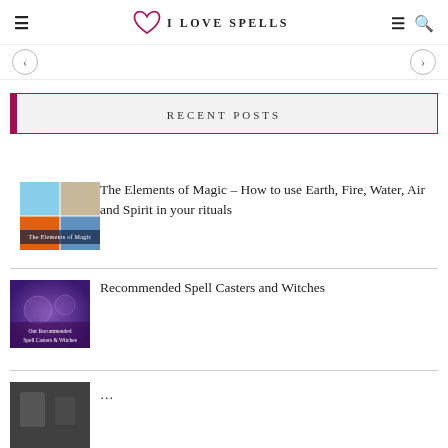I LOVE SPELLS
RECENT POSTS
[Figure (photo): Thumbnail for The Elements of Magic: composite image of sky, cracked earth, fire, and water]
The Elements of Magic – How to use Earth, Fire, Water, Air and Spirit in your rituals
[Figure (photo): Thumbnail for Recommended Spell Casters and Witches: purple-themed image with text overlay]
Recommended Spell Casters and Witches
[Figure (photo): Partial thumbnail for a third article, cropped at bottom of page]